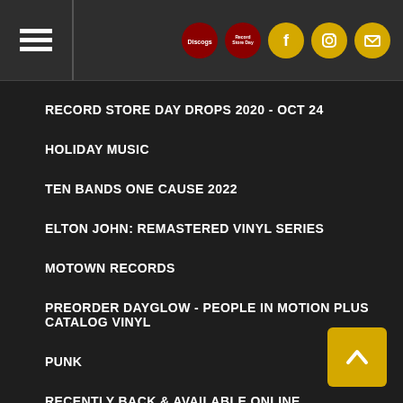Navigation header with hamburger menu and social icons
RECORD STORE DAY DROPS 2020 - OCT 24
HOLIDAY MUSIC
TEN BANDS ONE CAUSE 2022
ELTON JOHN: REMASTERED VINYL SERIES
MOTOWN RECORDS
PREORDER DAYGLOW - PEOPLE IN MOTION PLUS CATALOG VINYL
PUNK
RECENTLY BACK & AVAILABLE ONLINE
RECORD STORE DAY 2022